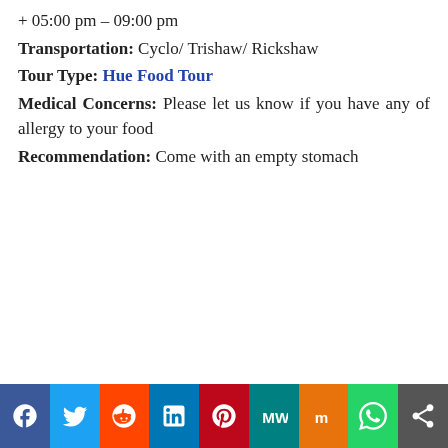+ 05:00 pm – 09:00 pm
Transportation: Cyclo/ Trishaw/ Rickshaw
Tour Type: Hue Food Tour
Medical Concerns: Please let us know if you have any of allergy to your food
Recommendation: Come with an empty stomach
[Figure (infographic): Social sharing bar with icons for Facebook, Twitter, Reddit, LinkedIn, Pinterest, MeWe, Mix, WhatsApp, and More]